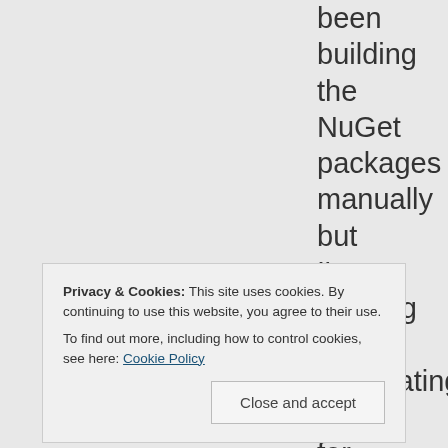been building the NuGet packages manually but I'm thinking about automating this for Beta – it will be even more important with .Net version specific assemblies. Another thing I realized after I saw your request was that I would need .NET version specific assemblies anyways after I add support for asnyc
Privacy & Cookies: This site uses cookies. By continuing to use this website, you agree to their use.
To find out more, including how to control cookies, see here: Cookie Policy